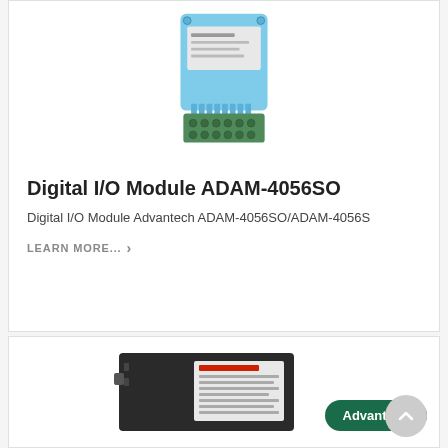[Figure (photo): Photo of Digital I/O Module ADAM-4056SO, a blue plastic industrial module with green terminal connectors at the bottom]
Digital I/O Module ADAM-4056SO
Digital I/O Module Advantech ADAM-4056SO/ADAM-4056S
LEARN MORE...
[Figure (photo): Photo of a black Advantech industrial module/converter device with Advantech logo badge overlay]